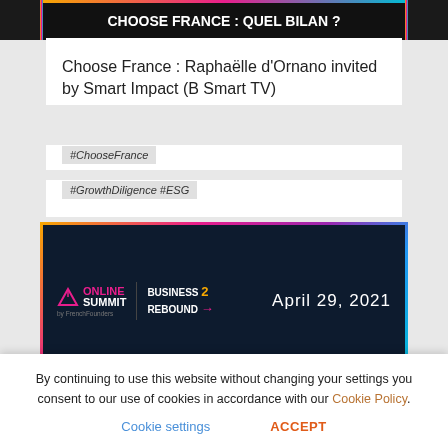[Figure (screenshot): Top cropped portion of a video thumbnail showing 'CHOOSE FRANCE : QUEL BILAN ?' text on dark background]
Choose France : Raphaëlle d'Ornano invited by Smart Impact (B Smart TV)
#ChooseFrance
#GrowthDiligence #ESG
[Figure (screenshot): Online Summit Business 2 Rebound banner with gradient border, dark background, showing April 29, 2021]
By continuing to use this website without changing your settings you consent to our use of cookies in accordance with our Cookie Policy.
Cookie settings
ACCEPT